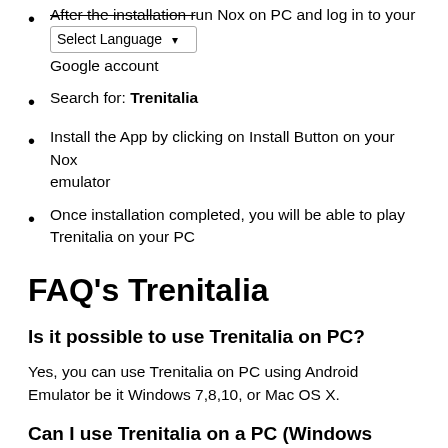After the installation run Nox on PC and log in to your Google account
Search for: Trenitalia
Install the App by clicking on Install Button on your Nox emulator
Once installation completed, you will be able to play Trenitalia on your PC
FAQ’s Trenitalia
Is it possible to use Trenitalia on PC?
Yes, you can use Trenitalia on PC using Android Emulator be it Windows 7,8,10, or Mac OS X.
Can I use Trenitalia on a PC (Windows 7/8/10 or